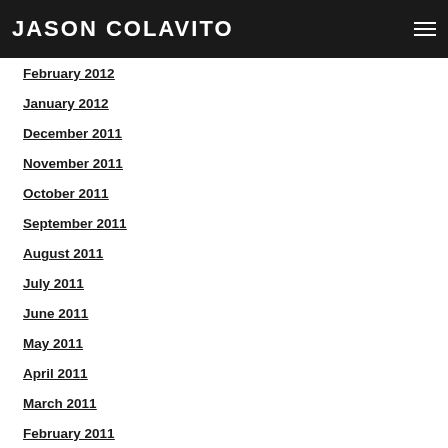JASON COLAVITO
March 2012
February 2012
January 2012
December 2011
November 2011
October 2011
September 2011
August 2011
July 2011
June 2011
May 2011
April 2011
March 2011
February 2011
January 2011
December 2010
November 2010
October 2010
September 2010